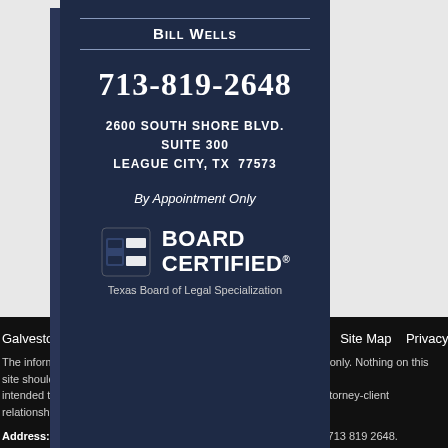[Figure (illustration): Dark navy business card for attorney Bill Wells showing phone number 713-819-2648, address 2600 South Shore Blvd. Suite 300, League City TX 77573, By Appointment Only, and Board Certified Texas Board of Legal Specialization logo]
Galveston County Personal Injury Attorney  Contact Us  Site Map  Privacy Policy
The information on this website is for general information purposes only. Nothing on this site should be intended to create, and receipt or viewing does not constitute, an attorney-client relationship.
Address: 2600 South Shore Blvd. League City, TX 77573. Phone: 713 819 2648.